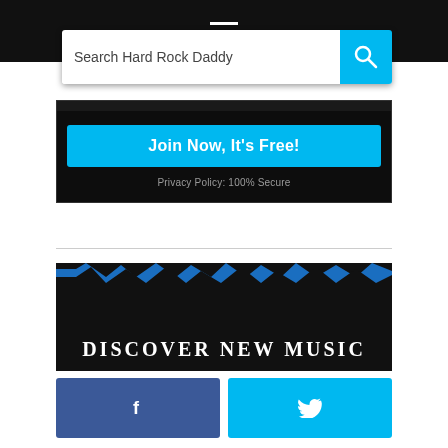≡ (hamburger menu icon)
[Figure (screenshot): Search bar with placeholder text 'Search Hard Rock Daddy' and a cyan search button with magnifying glass icon]
Join Now, It's Free!
Privacy Policy: 100% Secure
[Figure (illustration): Discover New Music banner with jagged/lightning bolt top edge design in blue and black]
[Figure (illustration): Facebook and Twitter social share buttons at bottom]